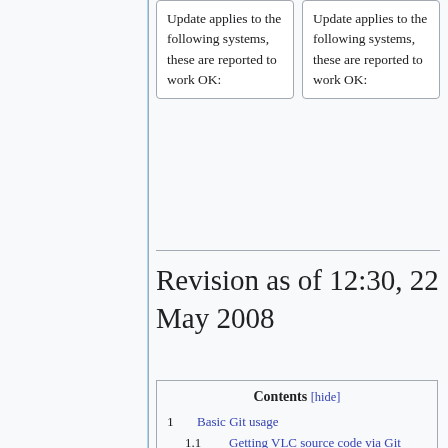| Update applies to the following systems, these are reported to work OK: | Update applies to the following systems, these are reported to work OK: |
Revision as of 12:30, 22 May 2008
Contents [hide]
1 Basic Git usage
1.1 Getting VLC source code via Git
1.2 Configure your global git config
1.2.1 Personal Information
1.2.2 Using git with color (Tip)
1.2.3 Setting up "git up" (Tip)
1.2.4 Setting up "git wu" (Git What's Up) (Tip)
1.2.5 Setting up "git wup" (Git